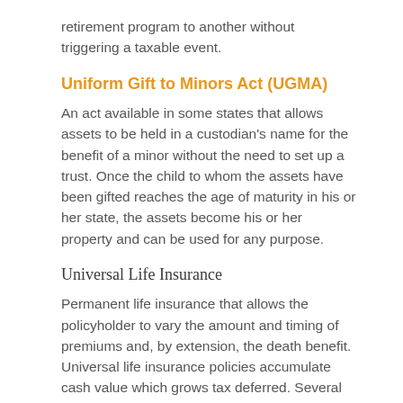retirement program to another without triggering a taxable event.
Uniform Gift to Minors Act (UGMA)
An act available in some states that allows assets to be held in a custodian’s name for the benefit of a minor without the need to set up a trust. Once the child to whom the assets have been gifted reaches the age of maturity in his or her state, the assets become his or her property and can be used for any purpose.
Universal Life Insurance
Permanent life insurance that allows the policyholder to vary the amount and timing of premiums and, by extension, the death benefit. Universal life insurance policies accumulate cash value which grows tax deferred. Several factors will affect the cost and availability of life insurance, including age, health, and the type and amount of insurance purchased. Life insurance policies have expenses, including mortality